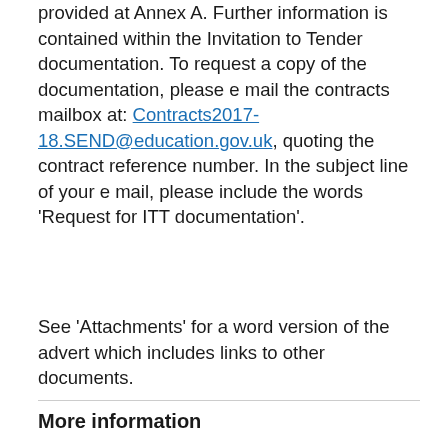provided at Annex A. Further information is contained within the Invitation to Tender documentation. To request a copy of the documentation, please e mail the contracts mailbox at: Contracts2017-18.SEND@education.gov.uk, quoting the contract reference number. In the subject line of your e mail, please include the words 'Request for ITT documentation'.
See 'Attachments' for a word version of the advert which includes links to other documents.
More information